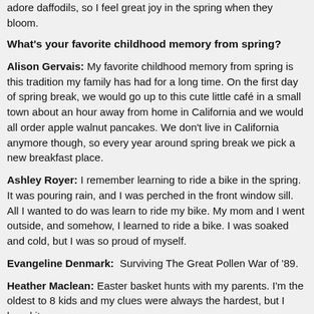adore daffodils, so I feel great joy in the spring when they bloom.
What's your favorite childhood memory from spring?
Alison Gervais: My favorite childhood memory from spring is this tradition my family has had for a long time. On the first day of spring break, we would go up to this cute little café in a small town about an hour away from home in California and we would all order apple walnut pancakes. We don't live in California anymore though, so every year around spring break we pick a new breakfast place.
Ashley Royer: I remember learning to ride a bike in the spring. It was pouring rain, and I was perched in the front window sill. All I wanted to do was learn to ride my bike. My mom and I went outside, and somehow, I learned to ride a bike. I was soaked and cold, but I was so proud of myself.
Evangeline Denmark: Surviving The Great Pollen War of '89.
Heather Maclean: Easter basket hunts with my parents. I'm the oldest to 8 kids and my clues were always the hardest, but I loved it.
McCall Hoyle: I love animals and grew up with cats and dogs and horses. Many of my best childhood memories involve my sturdy little pony, Duchess, and long rides through the hills and woods of North